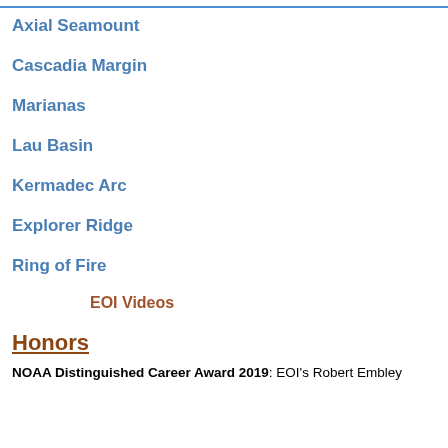Axial Seamount
Cascadia Margin
Marianas
Lau Basin
Kermadec Arc
Explorer Ridge
Ring of Fire
EOI Videos
Honors
NOAA Distinguished Career Award 2019: EOI's Robert Embley